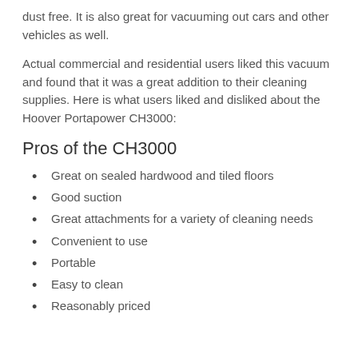dust free. It is also great for vacuuming out cars and other vehicles as well.
Actual commercial and residential users liked this vacuum and found that it was a great addition to their cleaning supplies. Here is what users liked and disliked about the Hoover Portapower CH3000:
Pros of the CH3000
Great on sealed hardwood and tiled floors
Good suction
Great attachments for a variety of cleaning needs
Convenient to use
Portable
Easy to clean
Reasonably priced